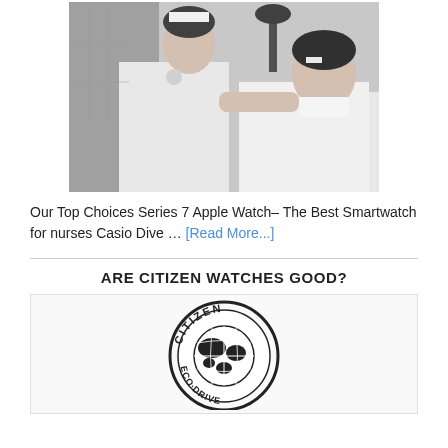[Figure (photo): Black and white vintage photo of a nurse in white uniform taking the pulse or checking the wrist of a male patient lying in a hospital bed, with a lamp visible in the background.]
Our Top Choices Series 7 Apple Watch– The Best Smartwatch for nurses Casio Dive … [Read More...]
ARE CITIZEN WATCHES GOOD?
[Figure (logo): Citizen Eco-Drive circular logo with a globe/world map in the center and text reading CITIZEN around the top and ECO-DRIVE around the bottom.]